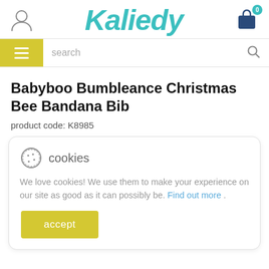Kaliedy
search
Babyboo Bumbleance Christmas Bee Bandana Bib
product code: K8985
cookies — We love cookies! We use them to make your experience on our site as good as it can possibly be. Find out more . accept